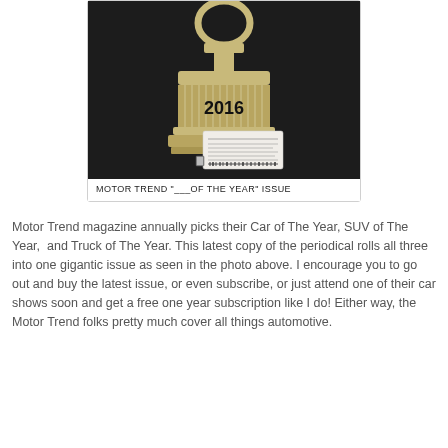[Figure (photo): Photo of a Motor Trend 2016 trophy/award on a dark background, with a mailing label sticker on the front of the magazine]
MOTOR TREND "___OF THE YEAR" ISSUE
Motor Trend magazine annually picks their Car of The Year, SUV of The Year, and Truck of The Year. This latest copy of the periodical rolls all three into one gigantic issue as seen in the photo above. I encourage you to go out and buy the latest issue, or even subscribe, or just attend one of their car shows soon and get a free one year subscription like I do! Either way, the Motor Trend folks pretty much cover all things automotive.